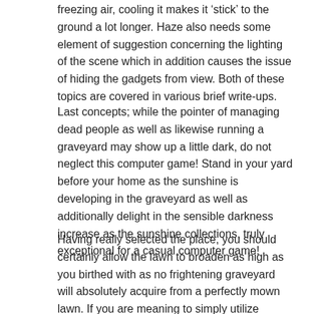freezing air, cooling it makes it 'stick' to the ground a lot longer. Haze also needs some element of suggestion concerning the lighting of the scene which in addition causes the issue of hiding the gadgets from view. Both of these topics are covered in various brief write-ups.
Last concepts; while the pointer of managing dead people as well as likewise running a graveyard may show up a little dark, do not neglect this computer game! Stand in your yard before your home as the sunshine is developing in the graveyard as well as additionally delight in the sensible darkness increase as the sunshine collections, truly exceptional for a casual computer game!
Having really selected the place, you should certainly allow the lawn to broaden as high as you birthed with as no frightening graveyard will absolutely acquire from a perfectly mown lawn. If you are meaning to simply utilize candle light lights or Jack ‘O Lanterns afterwards you will absolutely need to be able to get to those along with either a light or